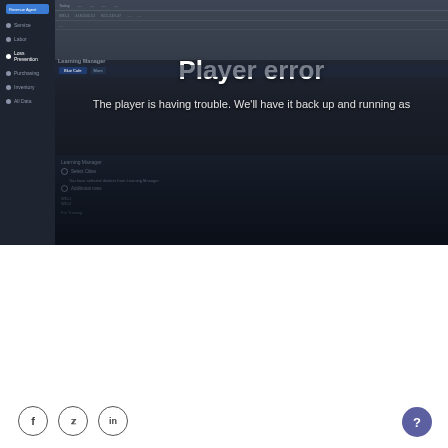[Figure (screenshot): A screenshot of a web application (likely a learning management or revenue management system) with a dark sidebar navigation on the left showing menu items (Revenue Agent, Service, Labor, Loss Prevention, Purchasing, Inventory, All Data), and a main content area. Overlaid on the screenshot is a video player error message: 'Player error' as a large bold white title, and below it 'The player is having trouble. We’ll have it back up and running as' in smaller white text. The content behind shows what appears to be a table with various columns, and a 'Learning Manager' section.]
[Figure (screenshot): Social media share icons at the bottom left: Facebook (f), Twitter (bird), LinkedIn (in) — each in a circle outline. A purple circular help/question mark button at the bottom right.]